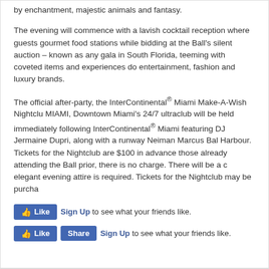by enchantment, majestic animals and fantasy.
The evening will commence with a lavish cocktail reception where guests gourmet food stations while bidding at the Ball's silent auction – known as any gala in South Florida, teeming with coveted items and experiences do entertainment, fashion and luxury brands.
The official after-party, the InterContinental® Miami Make-A-Wish Nightclu MIAMI, Downtown Miami's 24/7 ultraclub will be held immediately following InterContinental® Miami featuring DJ Jermaine Dupri, along with a runway Neiman Marcus Bal Harbour. Tickets for the Nightclub are $100 in advance those already attending the Ball prior, there is no charge. There will be a c elegant evening attire is required. Tickets for the Nightclub may be purcha
[Figure (screenshot): Facebook Like button with Sign Up link saying 'to see what your friends like.']
[Figure (screenshot): Facebook Like and Share buttons with Sign Up link saying 'to see what your friends like.']
No related posts.
DON'T MISS